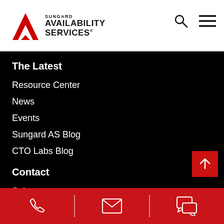[Figure (logo): Sungard Availability Services logo with red geometric arrow/triangle mark and bold text]
The Latest
Resource Center
News
Events
Sungard AS Blog
CTO Labs Blog
Contact
Sales
Support
[Figure (infographic): Red footer bar with phone, email, and chat icons separated by vertical white dividers]